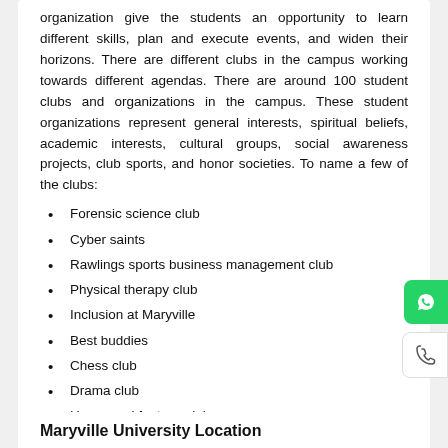organization give the students an opportunity to learn different skills, plan and execute events, and widen their horizons. There are different clubs in the campus working towards different agendas. There are around 100 student clubs and organizations in the campus. These student organizations represent general interests, spiritual beliefs, academic interests, cultural groups, social awareness projects, club sports, and honor societies. To name a few of the clubs:
Forensic science club
Cyber saints
Rawlings sports business management club
Physical therapy club
Inclusion at Maryville
Best buddies
Chess club
Drama club
Horror and fantasy club
Hunting and outdoor clubs
Maryville University Location